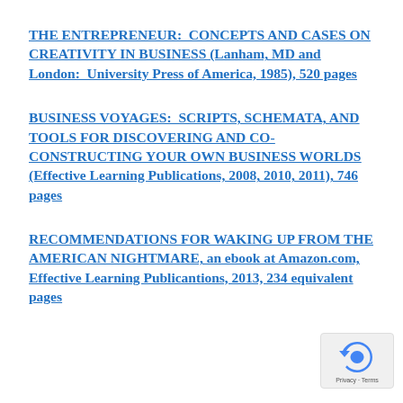THE ENTREPRENEUR:  CONCEPTS AND CASES ON CREATIVITY IN BUSINESS (Lanham, MD and London:  University Press of America, 1985), 520 pages
BUSINESS VOYAGES:  SCRIPTS, SCHEMATA, AND TOOLS FOR DISCOVERING AND CO-CONSTRUCTING YOUR OWN BUSINESS WORLDS (Effective Learning Publications, 2008, 2010, 2011), 746 pages
RECOMMENDATIONS FOR WAKING UP FROM THE AMERICAN NIGHTMARE, an ebook at Amazon.com, Effective Learning Publicantions, 2013, 234 equivalent pages